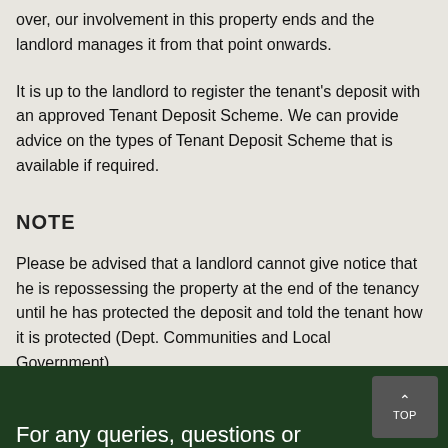over, our involvement in this property ends and the landlord manages it from that point onwards.
It is up to the landlord to register the tenant's deposit with an approved Tenant Deposit Scheme. We can provide advice on the types of Tenant Deposit Scheme that is available if required.
NOTE
Please be advised that a landlord cannot give notice that he is repossessing the property at the end of the tenancy until he has protected the deposit and told the tenant how it is protected (Dept. Communities and Local Government).
For any queries, questions or